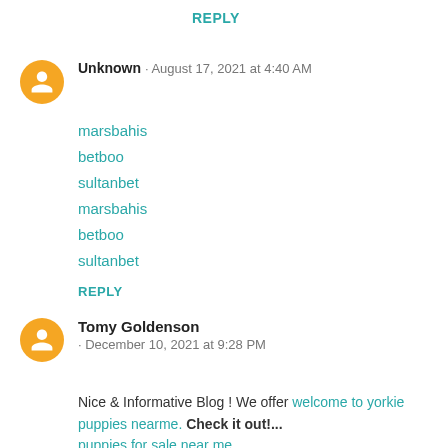REPLY
Unknown · August 17, 2021 at 4:40 AM
marsbahis
betboo
sultanbet
marsbahis
betboo
sultanbet
REPLY
Tomy Goldenson · December 10, 2021 at 9:28 PM
Nice & Informative Blog ! We offer welcome to yorkie puppies nearme. Check it out!... puppies for sale near me yorkie puppies with home training where to buy Yorkie Yorkie Female Puppies for sale